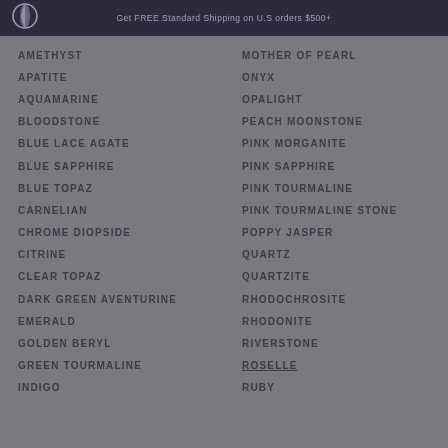Get FREE Standard Shipping on U.S orders $500+
AMETHYST
APATITE
AQUAMARINE
BLOODSTONE
BLUE LACE AGATE
BLUE SAPPHIRE
BLUE TOPAZ
CARNELIAN
CHROME DIOPSIDE
CITRINE
CLEAR TOPAZ
DARK GREEN AVENTURINE
EMERALD
GOLDEN BERYL
GREEN TOURMALINE
INDIGO
MOTHER OF PEARL
ONYX
OPALIGHT
PEACH MOONSTONE
PINK MORGANITE
PINK SAPPHIRE
PINK TOURMALINE
PINK TOURMALINE STONE
POPPY JASPER
QUARTZ
QUARTZITE
RHODOCHROSITE
RHODONITE
RIVERSTONE
ROSELLE
RUBY